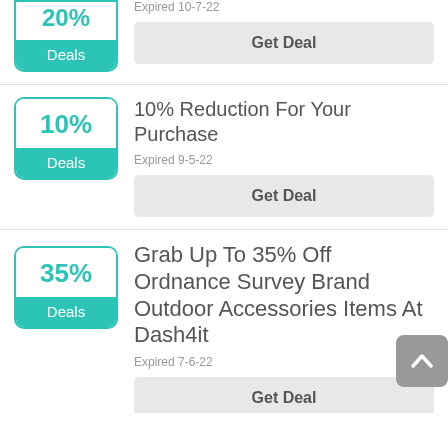[Figure (other): Coupon badge (partial at top): 20% Deals]
Expired 10-7-22
Get Deal
[Figure (other): Coupon badge: 10% Deals]
10% Reduction For Your Purchase
Expired 9-5-22
Get Deal
[Figure (other): Coupon badge: 35% Deals]
Grab Up To 35% Off Ordnance Survey Brand Outdoor Accessories Items At Dash4it
Expired 7-6-22
Get Deal